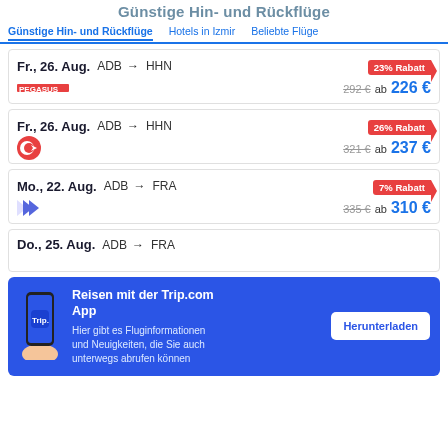Günstige Hin- und Rückflüge
Günstige Hin- und Rückflüge  Hotels in Izmir  Beliebte Flüge
Fr., 26. Aug. ADB → HHN | 23% Rabatt | 292 € ab 226 €
Fr., 26. Aug. ADB → HHN | 26% Rabatt | 321 € ab 237 €
Mo., 22. Aug. ADB → FRA | 7% Rabatt | 335 € ab 310 €
Do., 25. Aug. ADB → FRA
[Figure (infographic): App promotion banner for Trip.com with phone illustration, text 'Reisen mit der Trip.com App', description 'Hier gibt es Fluginformationen und Neuigkeiten, die Sie auch unterwegs abrufen können', and a 'Herunterladen' button]